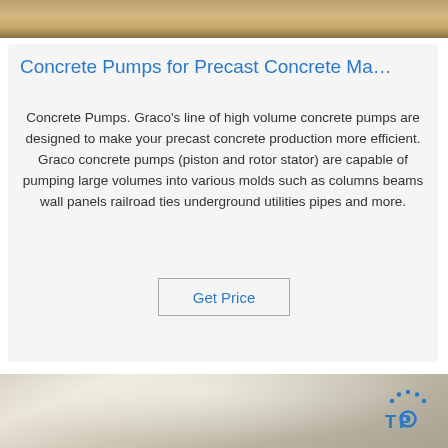[Figure (photo): Top portion of a photo showing wooden/industrial background, partially cropped]
Concrete Pumps for Precast Concrete Ma…
Concrete Pumps. Graco's line of high volume concrete pumps are designed to make your precast concrete production more efficient. Graco concrete pumps (piston and rotor stator) are capable of pumping large volumes into various molds such as columns beams wall panels railroad ties underground utilities pipes and more.
Get Price
[Figure (photo): Bottom photo showing curved concrete or industrial pipe surface, with a blue TOP logo in the lower right corner]